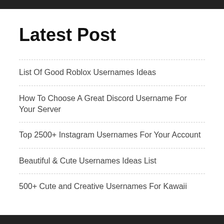Latest Post
List Of Good Roblox Usernames Ideas
How To Choose A Great Discord Username For Your Server
Top 2500+ Instagram Usernames For Your Account
Beautiful & Cute Usernames Ideas List
500+ Cute and Creative Usernames For Kawaii